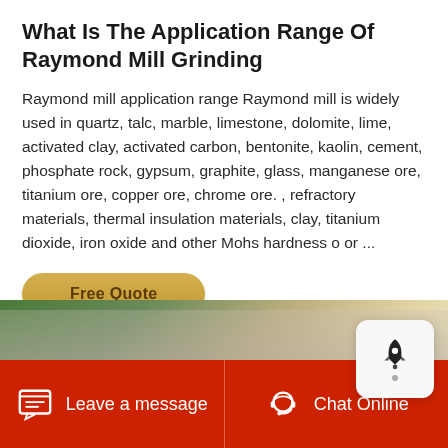What Is The Application Range Of Raymond Mill Grinding
Raymond mill application range Raymond mill is widely used in quartz, talc, marble, limestone, dolomite, lime, activated clay, activated carbon, bentonite, kaolin, cement, phosphate rock, gypsum, graphite, glass, manganese ore, titanium ore, copper ore, chrome ore. , refractory materials, thermal insulation materials, clay, titanium dioxide, iron oxide and other Mohs hardness o or ...
[Figure (other): Golden rounded-rectangle button labeled 'Free Quote']
[Figure (photo): Partial photo of workers or people in a industrial/mining setting, showing tops of heads with hard hats, green and beige background]
Leave a message    Chat Online